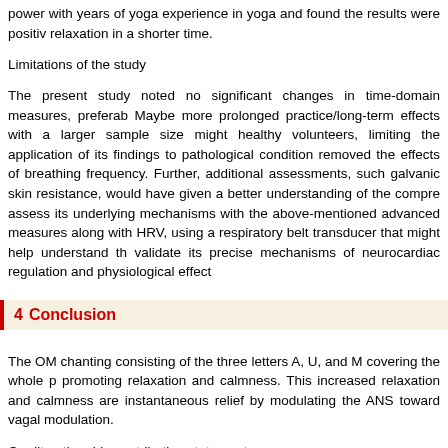power with years of yoga experience in yoga and found the results were positive relaxation in a shorter time.
Limitations of the study
The present study noted no significant changes in time-domain measures, preferably. Maybe more prolonged practice/long-term effects with a larger sample size might healthy volunteers, limiting the application of its findings to pathological conditions removed the effects of breathing frequency. Further, additional assessments, such galvanic skin resistance, would have given a better understanding of the comprehensive assess its underlying mechanisms with the above-mentioned advanced measures along with HRV, using a respiratory belt transducer that might help understand the validate its precise mechanisms of neurocardiac regulation and physiological effects.
4  Conclusion
The OM chanting consisting of the three letters A, U, and M covering the whole promoting relaxation and calmness. This increased relaxation and calmness are instantaneous relief by modulating the ANS toward vagal modulation.
Credit authorship contribution statement
All authors approved the final manuscript as submitted and agree to be accountable
Ethical statement